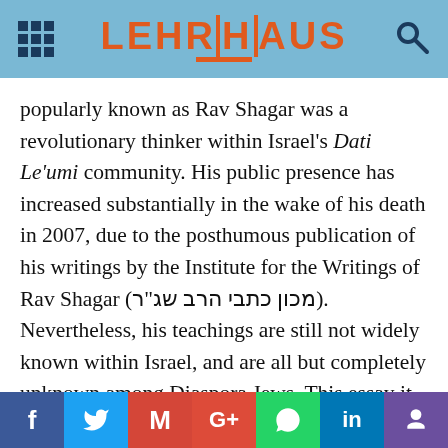LEHRHAUS
popularly known as Rav Shagar was a revolutionary thinker within Israel's Dati Le'umi community. His public presence has increased substantially in the wake of his death in 2007, due to the posthumous publication of his writings by the Institute for the Writings of Rav Shagar (מכון כתבי הרב שג"ר). Nevertheless, his teachings are still not widely known within Israel, and are all but completely unknown among Diaspora Jews. This essay it aimed at making some of the various aspects of Shagar's writings more accessible to the English-speaking world.
f  Twitter  M  G+  WhatsApp  in  crown